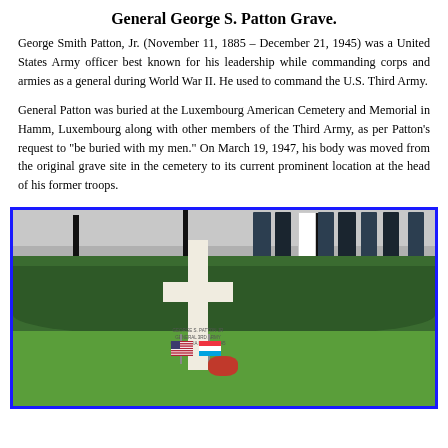General George S. Patton Grave.
George Smith Patton, Jr. (November 11, 1885 – December 21, 1945) was a United States Army officer best known for his leadership while commanding corps and armies as a general during World War II. He used to command the U.S. Third Army.
General Patton was buried at the Luxembourg American Cemetery and Memorial in Hamm, Luxembourg along with other members of the Third Army, as per Patton's request to "be buried with my men." On March 19, 1947, his body was moved from the original grave site in the cemetery to its current prominent location at the head of his former troops.
[Figure (photo): Photograph of General George S. Patton's grave marker — a white Latin cross in a cemetery, with the inscription 'GEORGE S. PATTON JR / GENERAL 3RD ARMY / CALIFORNIA DEC 21 1945'. An American flag and a Luxembourg flag are placed at the base of the cross, along with red flowers. Green hedges are visible in the background with military personnel standing behind them.]